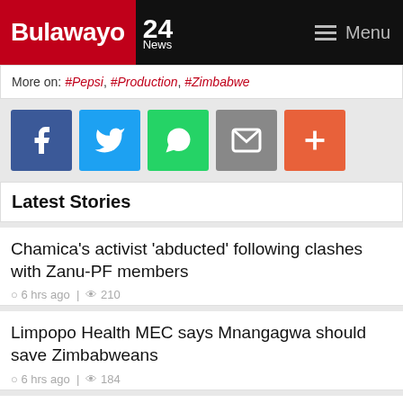Bulawayo 24 News | Menu
More on: #Pepsi, #Production, #Zimbabwe
[Figure (infographic): Social sharing buttons: Facebook, Twitter, WhatsApp, Email, More (+)]
Latest Stories
Chamica's activist 'abducted' following clashes with Zanu-PF members
6 hrs ago | 210
Limpopo Health MEC says Mnangagwa should save Zimbabweans
6 hrs ago | 184
Mnangagwa voices disquiet over criminal tag on nationals in South Africa